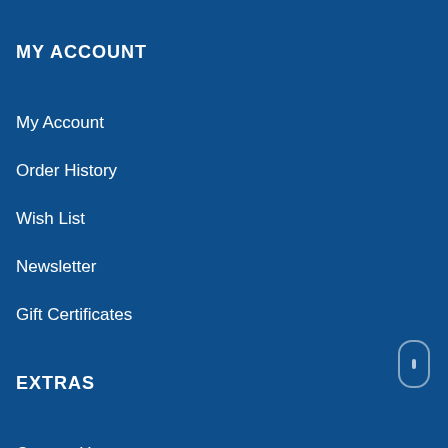MY ACCOUNT
My Account
Order History
Wish List
Newsletter
Gift Certificates
EXTRAS
Contact Us
Gift Certificates
Affiliates